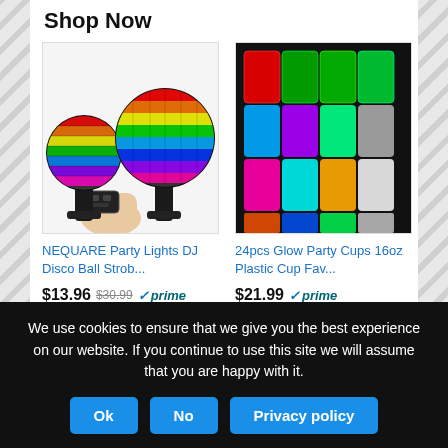Shop Now
[Figure (photo): Two rainbow disco ball party lights with remote control on black stands]
NEQUARE Party Lights DJ Disco Ball Strob...
$13.96  $30.99  ✓prime
★★★★☆ (4143)
[Figure (photo): 24 glow-in-the-dark party cups in multiple colors arranged in rows]
24pcs Glow Party Cups 16oz Plastic Cup Fav...
$21.99  ✓prime
★★★★☆ (195)
[Figure (photo): Colorful spiral party favors with animal characters]
[Figure (photo): Black party plates with colorful dots and black forks]
We use cookies to ensure that we give you the best experience on our website. If you continue to use this site we will assume that you are happy with it.
Ok  No  Privacy policy